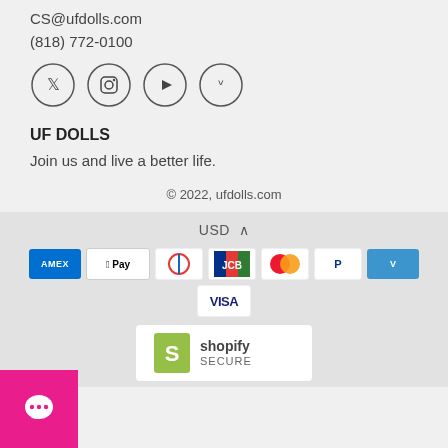CS@ufdolls.com
(818) 772-0100
[Figure (illustration): Four social media icons in circles: Twitter, Instagram, YouTube, Vimeo]
UF DOLLS
Join us and live a better life.
© 2022, ufdolls.com
USD ^
[Figure (illustration): Payment method logos: American Express, Apple Pay, Diners Club, JCB, Mastercard, PayPal, Venmo, Visa]
[Figure (logo): Shopify Secure badge]